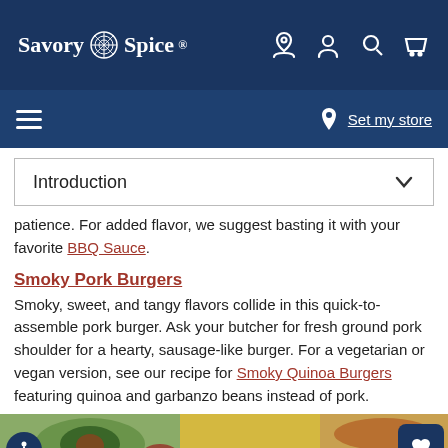Savory Spice
Introduction
patience. For added flavor, we suggest basting it with your favorite BBQ Sauce.
Smoky Pork Burgers
Smoky, sweet, and tangy flavors collide in this quick-to-assemble pork burger. Ask your butcher for fresh ground pork shoulder for a hearty, sausage-like burger. For a vegetarian or vegan version, see our recipe for Smoky Quinoa Burgers featuring quinoa and garbanzo beans instead of pork.
[Figure (photo): Food photography showing avocado, vegetables, and burger ingredients]